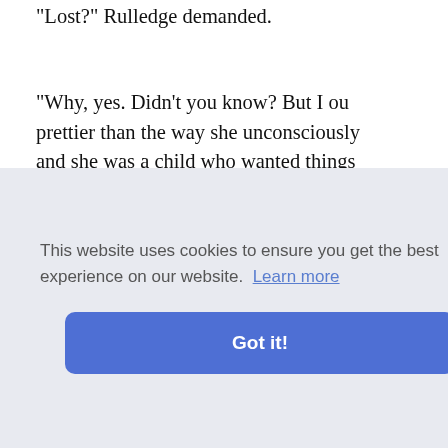"Lost?" Rulledge demanded.
"Why, yes. Didn't you know? But I ou... prettier than the way she unconsciously... and she was a child who wanted things... or fifteen years older than she was, and... her to assort herself with him when all t... things. The consensus of testimony... unconsciousness, and—"
"Who are your authorities?" Minver as... beat the cushions with impatience.
"I s it ... right ... in cl...?"
...o on."
...he had d... s no desi... l-road, ar... trail, and they walked round looking f...
[Figure (screenshot): Cookie consent banner with text 'This website uses cookies to ensure you get the best experience on our website. Learn more' and a blue 'Got it!' button.]